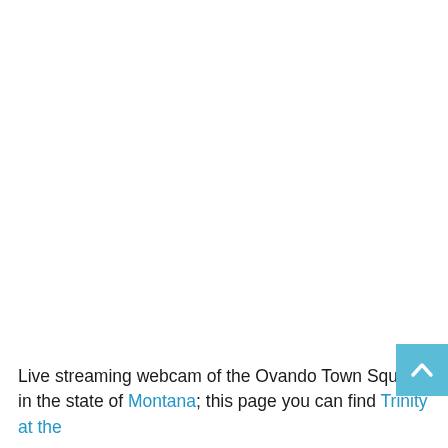Live streaming webcam of the Ovando Town Square in the state of Montana; this page you can find Trinity at the...